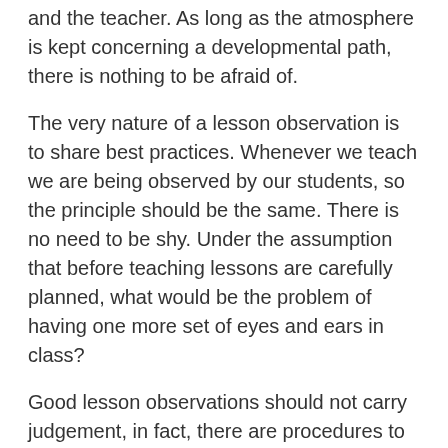and the teacher. As long as the atmosphere is kept concerning a developmental path, there is nothing to be afraid of.
The very nature of a lesson observation is to share best practices. Whenever we teach we are being observed by our students, so the principle should be the same. There is no need to be shy. Under the assumption that before teaching lessons are carefully planned, what would be the problem of having one more set of eyes and ears in class?
Good lesson observations should not carry judgement, in fact, there are procedures to be followed in order to perform it affectively. A group of researchers from the University of Virginia, set up a step-by-step guide: